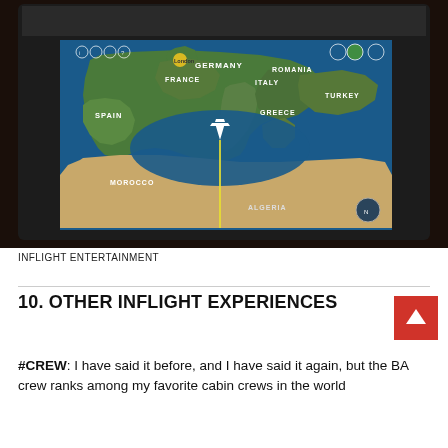[Figure (photo): In-flight entertainment screen showing a map of Europe with an airplane icon over the Mediterranean Sea heading south, displaying countries including Germany, France, Spain, Italy, Romania, Greece, Turkey, Morocco, Algeria, and a city marker for London. The screen has a dark bezel and is set in a dim cabin environment.]
INFLIGHT ENTERTAINMENT
10. OTHER INFLIGHT EXPERIENCES
#CREW: I have said it before, and I have said it again, but the BA crew ranks among my favorite cabin crews in the world